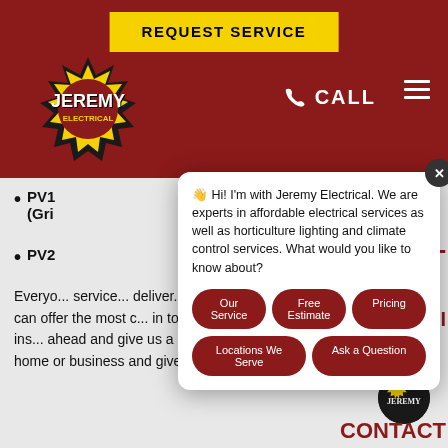REQUEST SERVICE
[Figure (logo): Jeremy Electrical logo - comic book style burst with yellow and red text on black starburst background]
CALL
PV1 ... (Gri...
PV2...
Everyone ... service ... deliver ... our p... of overhead, we can offer the most c... in town for electrical repairs and ins... ahead and give us a call. We'll come t... City home or business and give you
[Figure (screenshot): Chat popup from Jeremy Electrical chatbot. Message: Hi! I'm with Jeremy Electrical. We are experts in affordable electrical services as well as horticulture lighting and climate control services. What would you like to know about? Buttons: Our Service, Free Estimate, Pricing, Locations We Serve, Ask a Question]
BLOG
CONTACT